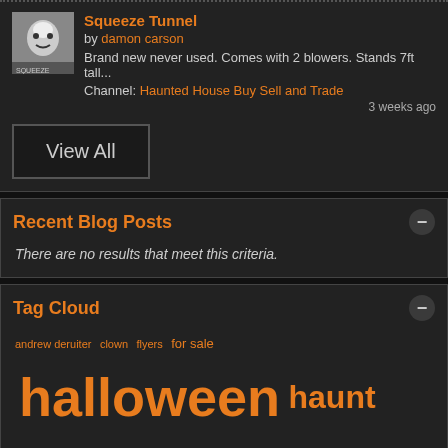[Figure (photo): Thumbnail image of a clown/mask face for Squeeze Tunnel listing]
Squeeze Tunnel
by damon carson
Brand new never used. Comes with 2 blowers. Stands 7ft tall...
Channel: Haunted House Buy Sell and Trade
3 weeks ago
View All
Recent Blog Posts
There are no results that meet this criteria.
Tag Cloud
andrew deruiter clown flyers for sale halloween haunt haunted house hauntedprints.com mask music pixel pushers podcast printing prop props rfr rotting flesh radio sale ticketleap transworld